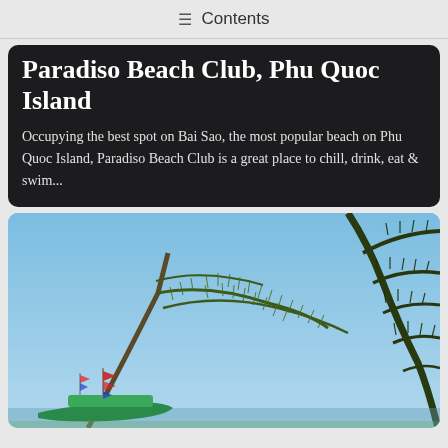≡ Contents
Paradiso Beach Club, Phu Quoc Island
Occupying the best spot on Bai Sao, the most popular beach on Phu Quoc Island, Paradiso Beach Club is a great place to chill, drink, eat & swim...
[Figure (photo): Outdoor photo showing tree branches with feathery foliage against a clear blue sky, with a colorful boat visible at the bottom left with flags]